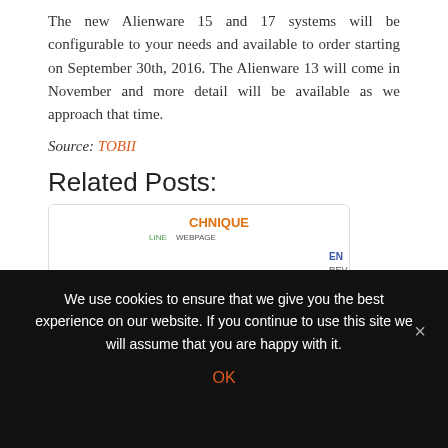The new Alienware 15 and 17 systems will be configurable to your needs and available to order starting on September 30th, 2016. The Alienware 13 will come in November and more detail will be available as we approach that time.
Source: TOBII
Related Posts:
[Figure (infographic): Word cloud related to search and web topics. Prominent words include SEARCH (large, blue), OPTIMIZATION (large, orange/gold), STATISTICS (red), IEW, LYSIS, PROBE, DEVELOPMENT, TOOLS, RESULTS, KEYWORD, CHNIQUE, LINE, WEBPAGE, EXPERIMENT, INFORMATION, POPULARITY, STANDARDS, EN, REV, CORE, PAGE, OFF, etc. in various colors and orientations.]
We use cookies to ensure that we give you the best experience on our website. If you continue to use this site we will assume that you are happy with it.
OK